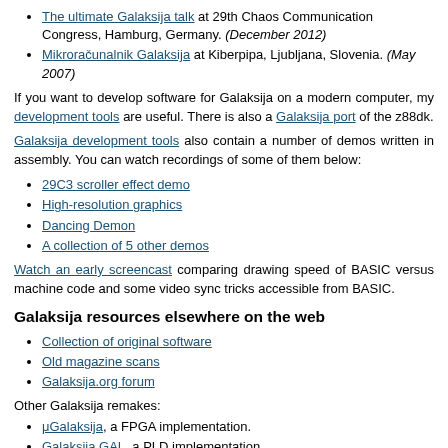The ultimate Galaksija talk at 29th Chaos Communication Congress, Hamburg, Germany. (December 2012)
Mikroračunalnik Galaksija at Kiberpipa, Ljubljana, Slovenia. (May 2007)
If you want to develop software for Galaksija on a modern computer, my development tools are useful. There is also a Galaksija port of the z88dk.
Galaksija development tools also contain a number of demos written in assembly. You can watch recordings of some of them below:
29C3 scroller effect demo
High-resolution graphics
Dancing Demon
A collection of 5 other demos
Watch an early screencast comparing drawing speed of BASIC versus machine code and some video sync tricks accessible from BASIC.
Galaksija resources elsewhere on the web
Collection of original software
Old magazine scans
Galaksija.org forum
Other Galaksija remakes:
μGalaksija, a FPGA implementation.
Galaksija GAL, a PLD implementation.
Galaksija emulators: